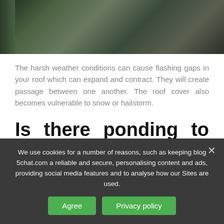[Figure (photo): Close-up photo of a dark asphalt shingle roof with a metal gutter/flashing visible on the left side, shot from above at an angle.]
The harsh weather conditions can cause flashing gaps in your roof which can expand and contract. They will create passage between one another. The roof cover also becomes vulnerable to snow or hailstorm.
Is there ponding to be seen?
Checking for ponding on the roof...
We use cookies for a number of reasons, such as keeping blog 5chat.com a reliable and secure, personalising content and ads, providing social media features and to analyse how our Sites are used.